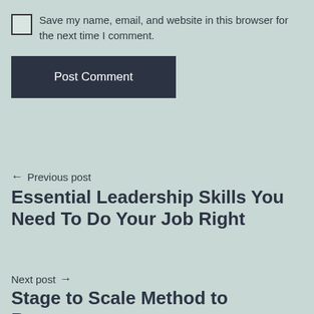Save my name, email, and website in this browser for the next time I comment.
Post Comment
← Previous post
Essential Leadership Skills You Need To Do Your Job Right
Next post →
Stage to Scale Method to Become a